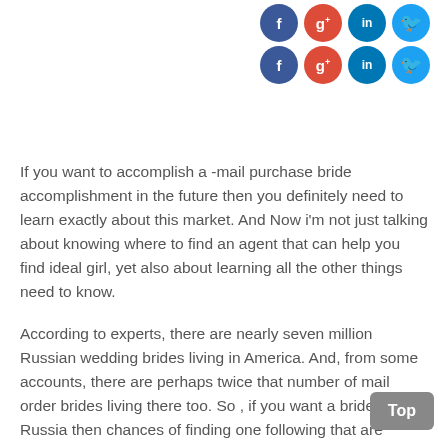[Figure (other): Two rows of social media icon circles: Facebook (blue), Google+ (red), LinkedIn (dark blue), Twitter (light blue) — repeated twice in two rows]
If you want to accomplish a -mail purchase bride accomplishment in the future then you definitely need to learn exactly about this market. And Now i'm not just talking about knowing where to find an agent that can help you find ideal girl, yet also about learning all the other things need to know.
According to experts, there are nearly seven million Russian wedding brides living in America. And, from some accounts, there are perhaps twice that number of mail order brides living there too. So , if you want a bride via Russia then chances of finding one following that are higher than they are simply for American brides.
Now, for anybody who is gonna try to find bridal agents right from these countries then you'll need to spend some time undertaking research on the net. This will supply you with the information you need to get started on your journey.
You'll find that the simplest way to find bridal agents in Russia and other countries should be to go to on line